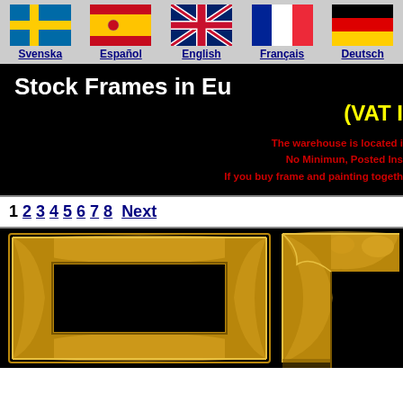Svenska | Español | English | Français | Deutsch
Stock Frames in Eu (VAT I
The warehouse is located i No Minimun, Posted Inst If you buy frame and painting togeth
1 2 3 4 5 6 7 8 Next
[Figure (photo): Two ornate gold picture frames on black background]